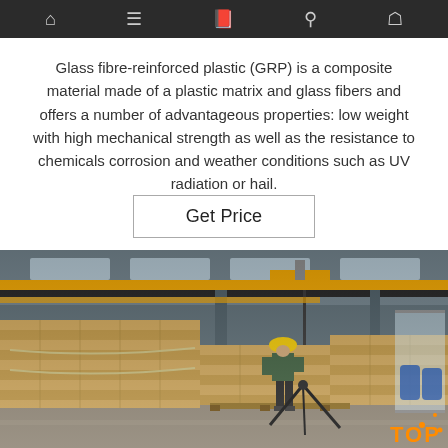Navigation bar with home, menu, notebook, search, and user icons
Glass fibre-reinforced plastic (GRP) is a composite material made of a plastic matrix and glass fibers and offers a number of advantageous properties: low weight with high mechanical strength as well as the resistance to chemicals corrosion and weather conditions such as UV radiation or hail.
[Figure (other): Get Price button with border]
[Figure (photo): Industrial warehouse interior with yellow overhead crane, large stacks of wooden crates/pallets, a worker in yellow hard hat and dark clothing standing near the crane hook, concrete floor, metal roof structure with skylights, blue barrels in background. TOP logo overlay in orange bottom right.]